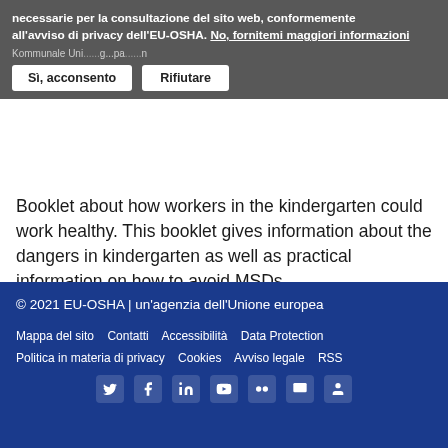necessarie per la consultazione del sito web, conformemente all'avviso di privacy dell'EU-OSHA. No, fornitemi maggiori informazioni
Kommunale Uni... ...g...pa... ...n
Booklet about how workers in the kindergarten could work healthy. This booklet gives information about the dangers in kindergarten as well as practical information on how to avoid MSDs
Vedi altro →
© 2021 EU-OSHA | un'agenzia dell'Unione europea
Mappa del sito  Contatti  Accessibilità  Data Protection  Politica in materia di privacy  Cookies  Avviso legale  RSS